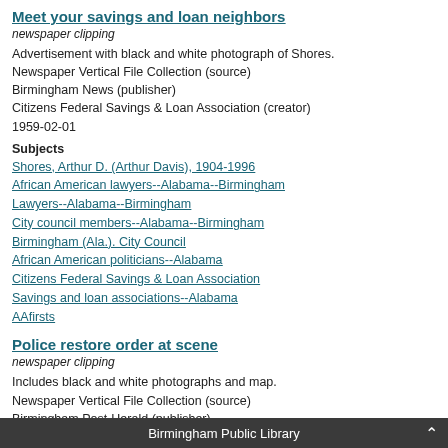Meet your savings and loan neighbors
newspaper clipping
Advertisement with black and white photograph of Shores.
Newspaper Vertical File Collection (source)
Birmingham News (publisher)
Citizens Federal Savings & Loan Association (creator)
1959-02-01
Subjects
Shores, Arthur D. (Arthur Davis), 1904-1996
African American lawyers--Alabama--Birmingham
Lawyers--Alabama--Birmingham
City council members--Alabama--Birmingham
Birmingham (Ala.). City Council
African American politicians--Alabama
Citizens Federal Savings & Loan Association
Savings and loan associations--Alabama
AAfirsts
Police restore order at scene
newspaper clipping
Includes black and white photographs and map.
Newspaper Vertical File Collection (source)
Birmingham Post-Herald (publisher)
1963-08-21
Subjects
Shores, Arthur D. (Arthur Davis), 1904-1996
African American lawyers--Alabama--Birmingham
Birmingham Public Library